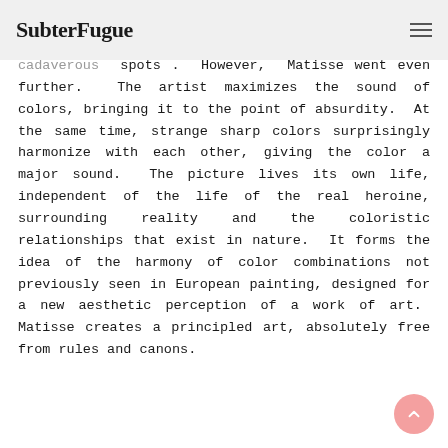SubterFugue
cadaverous spots . However, Matisse went even further. The artist maximizes the sound of colors, bringing it to the point of absurdity. At the same time, strange sharp colors surprisingly harmonize with each other, giving the color a major sound. The picture lives its own life, independent of the life of the real heroine, surrounding reality and the coloristic relationships that exist in nature. It forms the idea of the harmony of color combinations not previously seen in European painting, designed for a new aesthetic perception of a work of art. Matisse creates a principled art, absolutely free from rules and canons.